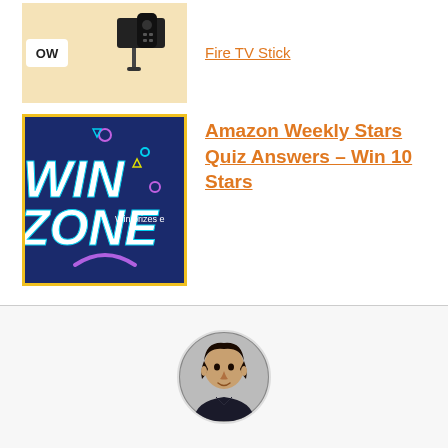[Figure (photo): Thumbnail image of a Fire TV Stick device on a light beige/cream background, with a white badge showing 'OW' on the left side]
Fire TV Stick
[Figure (screenshot): Dark blue background promotional image with yellow border showing 'WIN ZONE' text in bold italic style with neon blue glow effect. Text 'Win prizes e...' partially visible on the right. Decorative geometric shapes and dots scattered around.]
Amazon Weekly Stars Quiz Answers – Win 10 Stars
[Figure (photo): Circular avatar/profile photo of a young man with dark hair, wearing dark clothing, on a light gray background section]